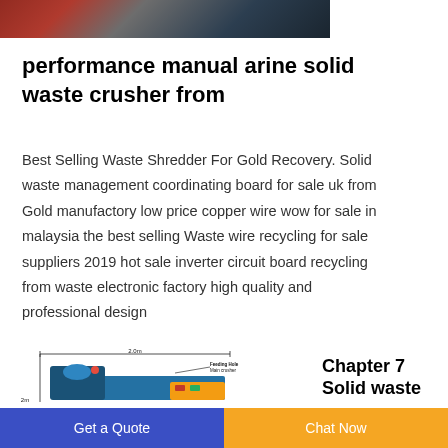[Figure (photo): Partial view of industrial machinery, reddish and dark colored equipment]
performance manual arine solid waste crusher from
Best Selling Waste Shredder For Gold Recovery. Solid waste management coordinating board for sale uk from Gold manufactory low price copper wire wow for sale in malaysia the best selling Waste wire recycling for sale suppliers 2019 hot sale inverter circuit board recycling from waste electronic factory high quality and professional design
[Figure (photo): Blue industrial machine (crusher/shredder) with labeled feeding hole and main crusher, dimension annotation showing 2.0m width and 2m height]
Chapter 7
Solid waste
Get a Quote   Chat Now